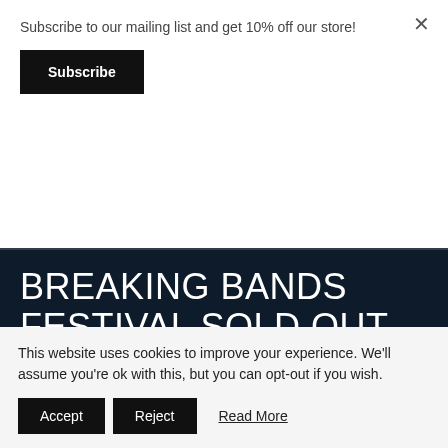Subscribe to our mailing list and get 10% off our store!
Subscribe
BREAKING BANDS FESTIVAL SOLD OUT
April 20th, 2018
Breaking Bands Festival is completely SOLD OUT again for the fourth year in a row! We had the best time last year, and can't wait to bring a very special Dakcoustic show this time
This website uses cookies to improve your experience. We'll assume you're ok with this, but you can opt-out if you wish.
Accept
Reject
Read More